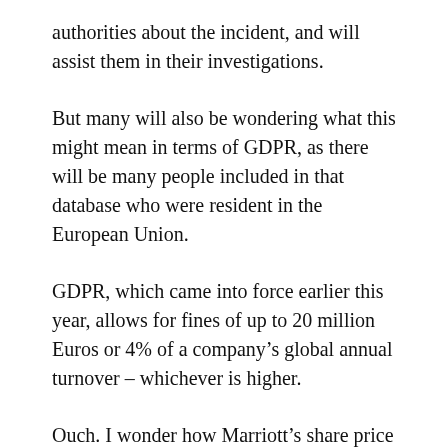authorities about the incident, and will assist them in their investigations.
But many will also be wondering what this might mean in terms of GDPR, as there will be many people included in that database who were resident in the European Union.
GDPR, which came into force earlier this year, allows for fines of up to 20 million Euros or 4% of a company’s global annual turnover – whichever is higher.
Ouch. I wonder how Marriott’s share price is going to perform today?